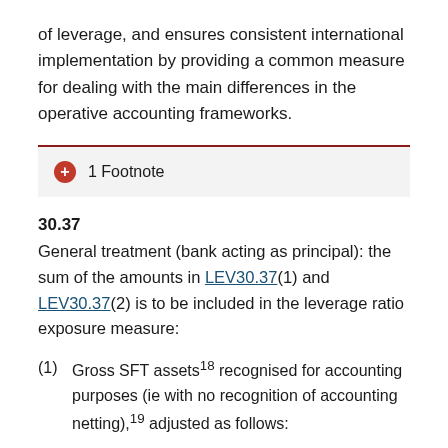of leverage, and ensures consistent international implementation by providing a common measure for dealing with the main differences in the operative accounting frameworks.
1 Footnote
30.37
General treatment (bank acting as principal): the sum of the amounts in LEV30.37(1) and LEV30.37(2) is to be included in the leverage ratio exposure measure:
(1)  Gross SFT assets¹18 recognised for accounting purposes (ie with no recognition of accounting netting),¹19 adjusted as follows: